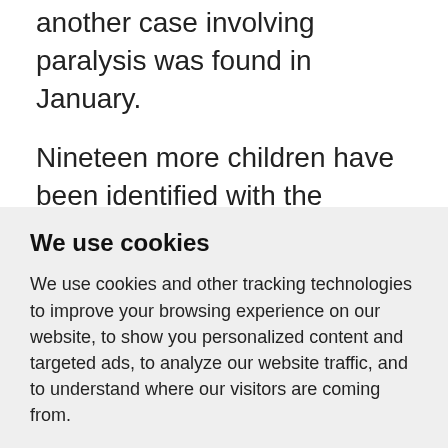another case involving paralysis was found in January.
Nineteen more children have been identified with the vaccine-derived form of polio but without symptoms of paralysis.
A nationwide polio immunisation
We use cookies
We use cookies and other tracking technologies to improve your browsing experience on our website, to show you personalized content and targeted ads, to analyze our website traffic, and to understand where our visitors are coming from.